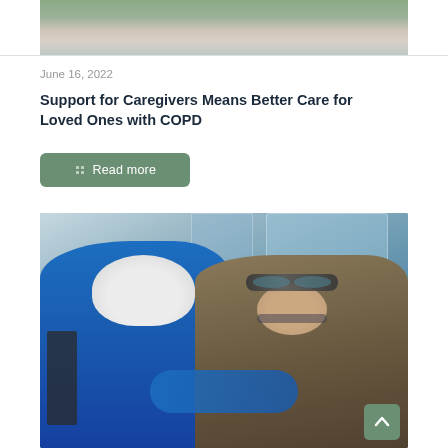[Figure (photo): Partial view of two people outdoors, one in a patterned top and another in white, with greenery in background — cropped at top of page]
June 16, 2022
Support for Caregivers Means Better Care for Loved Ones with COPD
[Figure (other): Green rounded rectangle button with grid icon and text 'Read more']
[Figure (photo): Two older women hugging warmly indoors; one in a blue top with white hair, the other wearing goggles on her head and glasses, smiling. A scroll-to-top button (green with upward arrow) is visible in the lower right corner.]